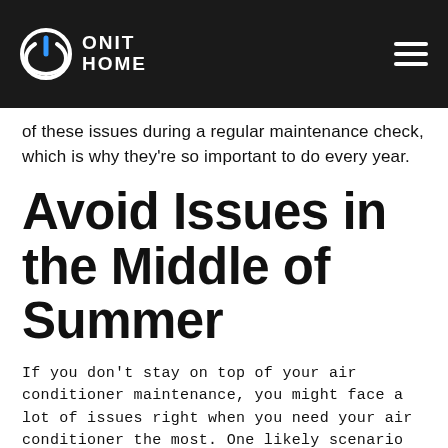[Figure (logo): Onit Home logo with circular power button icon in white and blue, white text ONIT HOME on dark header bar]
of these issues during a regular maintenance check, which is why they're so important to do every year.
Avoid Issues in the Middle of Summer
If you don't stay on top of your air conditioner maintenance, you might face a lot of issues right when you need your air conditioner the most. One likely scenario is that your air conditioner stops working at all right in the middle of summer, and it might leave you without any cooling in your home for at least a day or